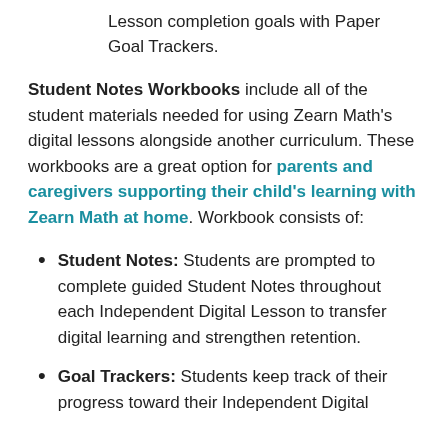Lesson completion goals with Paper Goal Trackers.
Student Notes Workbooks include all of the student materials needed for using Zearn Math's digital lessons alongside another curriculum. These workbooks are a great option for parents and caregivers supporting their child's learning with Zearn Math at home. Workbook consists of:
Student Notes: Students are prompted to complete guided Student Notes throughout each Independent Digital Lesson to transfer digital learning and strengthen retention.
Goal Trackers: Students keep track of their progress toward their Independent Digital